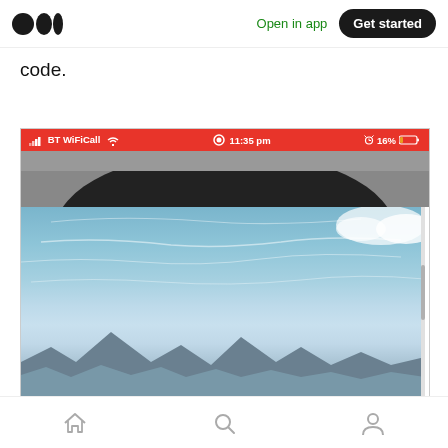Medium logo | Open in app | Get started
code.
[Figure (screenshot): Mobile phone screenshot showing a red status bar (BT WiFiCall, 11:35 pm, 16% battery) and below it a photo split into two parts: top portion shows a dark curved tunnel/arch, bottom portion shows a blue sky with clouds and mountain peaks visible at the bottom edge. A scrollbar is visible on the right side.]
Home | Search | Profile navigation icons